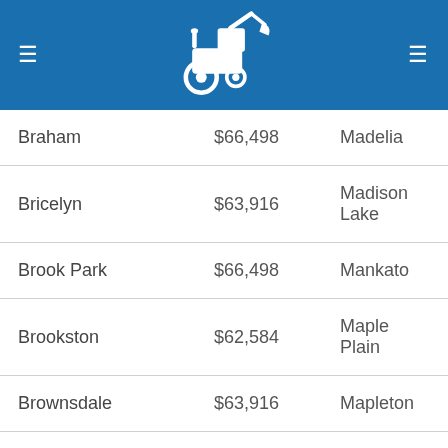[Figure (logo): Blue header bar with white construction vehicle/tractor logo in center and hamburger menu icons on left and right]
| Braham | $66,498 | Madelia |
| Bricelyn | $63,916 | Madison Lake |
| Brook Park | $66,498 | Mankato |
| Brookston | $62,584 | Maple Plain |
| Brownsdale | $63,916 | Mapleton |
| Buffalo | $62,624 | Mayer |
| Burnsville | $70,771 | Mendota |
| Butterfield | $64,586 | Minneapolis |
| Chaska | $70,611 | New Auburn |